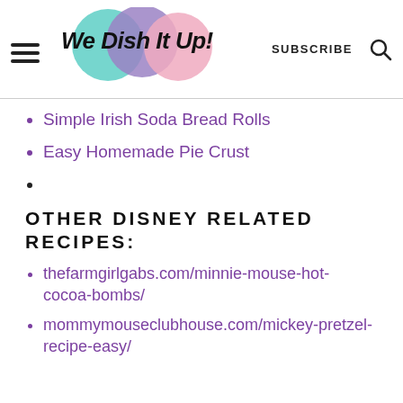We Dish It Up! | SUBSCRIBE
Simple Irish Soda Bread Rolls
Easy Homemade Pie Crust
OTHER DISNEY RELATED RECIPES:
thefarmgirlgabs.com/minnie-mouse-hot-cocoa-bombs/
mommymouseclubhouse.com/mickey-pretzel-recipe-easy/